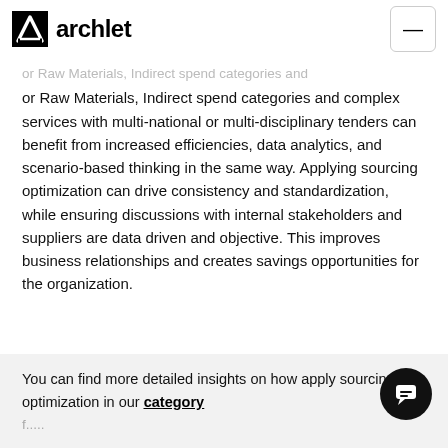archlet
or Raw Materials, Indirect spend categories and complex services with multi-national or multi-disciplinary tenders can benefit from increased efficiencies, data analytics, and scenario-based thinking in the same way. Applying sourcing optimization can drive consistency and standardization, while ensuring discussions with internal stakeholders and suppliers are data driven and objective. This improves business relationships and creates savings opportunities for the organization.
You can find more detailed insights on how apply sourcing optimization in our category